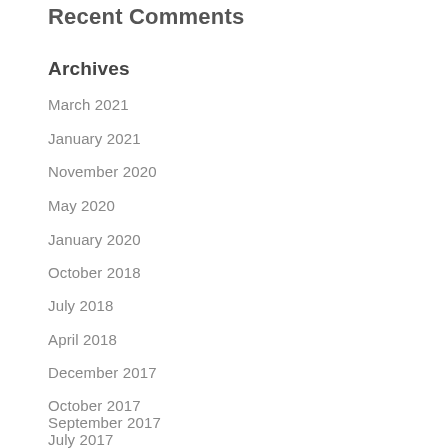Recent Comments
Archives
March 2021
January 2021
November 2020
May 2020
January 2020
October 2018
July 2018
April 2018
December 2017
October 2017
September 2017
July 2017